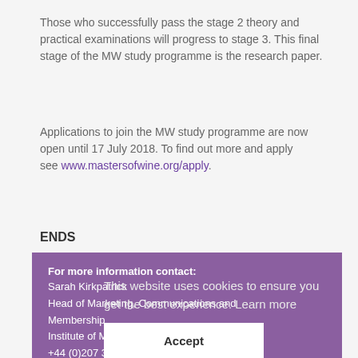Those who successfully pass the stage 2 theory and practical examinations will progress to stage 3. This final stage of the MW study programme is the research paper.
Applications to join the MW study programme are now open until 17 July 2018. To find out more and apply see www.mastersofwine.org/apply.
ENDS
For more information contact:
Sarah Kirkpatrick
Head of Marketing, Communications and Membership
Institute of Masters of Wine
+44 (0)207 383 9131
skirkpatrick@mastersofwine.org